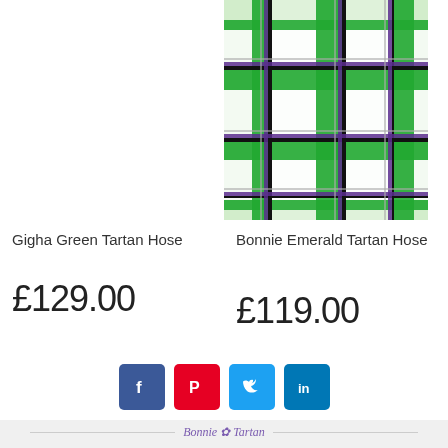[Figure (illustration): Bonnie Emerald Tartan fabric swatch showing green, white, black, and purple plaid pattern]
Gigha Green Tartan Hose
Bonnie Emerald Tartan Hose
£129.00
£119.00
[Figure (infographic): Social media share buttons: Facebook, Pinterest, Twitter, LinkedIn]
Bonnie Tartan — Customer Care — About Bonnie Tartan — Terms & Conditions